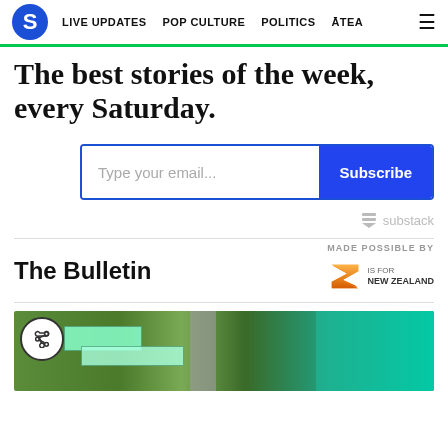S | LIVE UPDATES | POP CULTURE | POLITICS | ĀTEA | ☰
The best stories of the week, every Saturday.
Type your email... Subscribe
substack
MADE POSSIBLE BY
The Bulletin
IS FOR NEW ZEALAND
[Figure (photo): Aerial photograph of a coastal property with buildings, a road running alongside, and turquoise sea water visible on the right side]